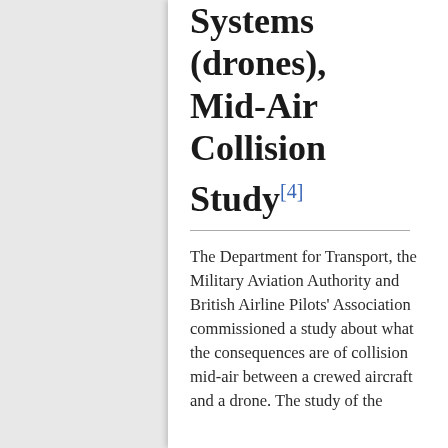Systems (drones), Mid-Air Collision Study[4]
The Department for Transport, the Military Aviation Authority and British Airline Pilots' Association commissioned a study about what the consequences are of collision mid-air between a crewed aircraft and a drone. The study of the...